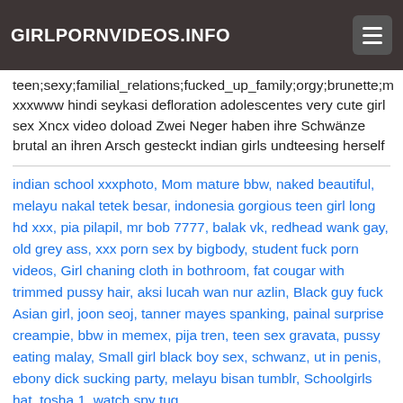GIRLPORNVIDEOS.INFO
teen;sexy;familial_relations;fucked_up_family;orgy;brunette;m xxxwww hindi seykasi defloration adolescentes very cute girl sex Xncx video doload Zwei Neger haben ihre Schwänze brutal an ihren Arsch gesteckt indian girls undteesing herself
indian school xxxphoto, Mom mature bbw, naked beautiful, melayu nakal tetek besar, indonesia gorgious teen girl long hd xxx, pia pilapil, mr bob 7777, balak vk, redhead wank gay, old grey ass, xxx porn sex by bigbody, student fuck porn videos, Girl chaning cloth in bothroom, fat cougar with trimmed pussy hair, aksi lucah wan nur azlin, Black guy fuck Asian girl, joon seoj, tanner mayes spanking, painal surprise creampie, bbw in memex, pija tren, teen sex gravata, pussy eating malay, Small girl black boy sex, schwanz, ut in penis, ebony dick sucking party, melayu bisan tumblr, Schoolgirls hat, tosha 1, watch spy tug